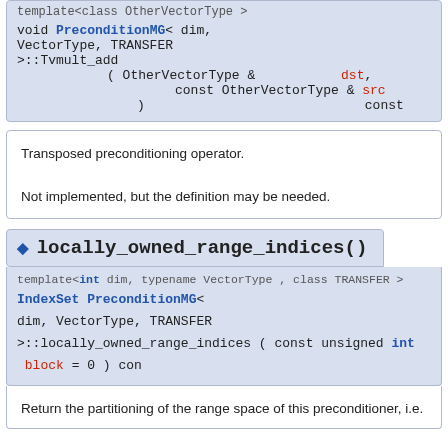template<class OtherVectorType >
void PreconditionMG< dim, VectorType, TRANSFER >::Tvmult_add ( OtherVectorType & dst, const OtherVectorType & src ) const
Transposed preconditioning operator.

Not implemented, but the definition may be needed.
◆ locally_owned_range_indices()
template<int dim, typename VectorType , class TRANSFER >
IndexSet PreconditionMG< dim, VectorType, TRANSFER >::locally_owned_range_indices ( const unsigned int block = 0 ) const
Return the partitioning of the range space of this preconditioner, i.e.